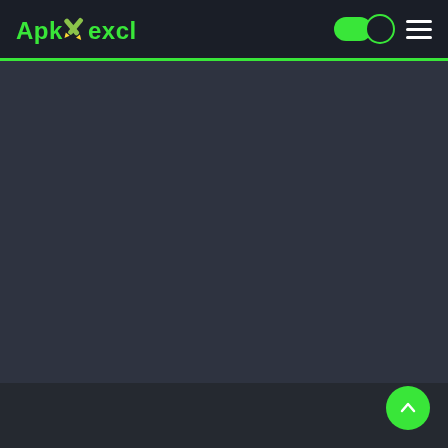ApkXexclusive
[Figure (screenshot): Dark themed website navigation bar with ApkXexclusive logo in green, a dark mode toggle with moon icon, and a hamburger menu on the right. A green horizontal line separates the navbar from the content area below.]
[Figure (screenshot): Green circular scroll-to-top button with a white upward chevron arrow, positioned in the bottom-right corner of the page.]